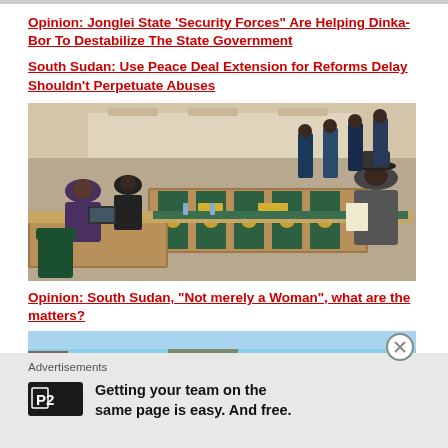Opinion: Jonglei State ‘Security Forces” Are Helping Dinka-Bor To Destabilize The State Government
South Sudan: Use Peace Deal Extension for Reforms Delay Shouldn’t Perpetuate Abuses
[Figure (photo): Meeting room with officials seated at large conference tables with green upholstered chairs; people in suits gathered around long wooden tables in a formal government setting]
Opinion: South Sudan, “Not merely a Woman”, what are the matters?
[Figure (photo): Partial view of a cityscape with rooftops and buildings under a blue sky]
Advertisements
[Figure (logo): P2 logo — dark square with P2 text]
Getting your team on the same page is easy. And free.